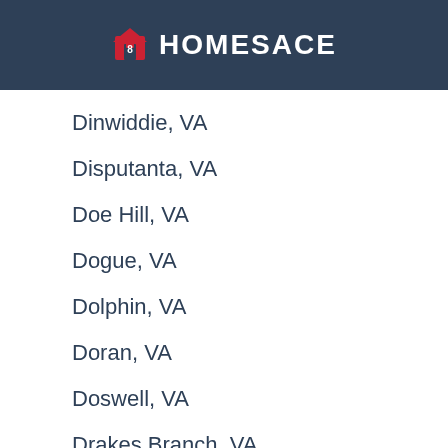HOMESACE
Dinwiddie, VA
Disputanta, VA
Doe Hill, VA
Dogue, VA
Dolphin, VA
Doran, VA
Doswell, VA
Drakes Branch, VA
Draper, VA